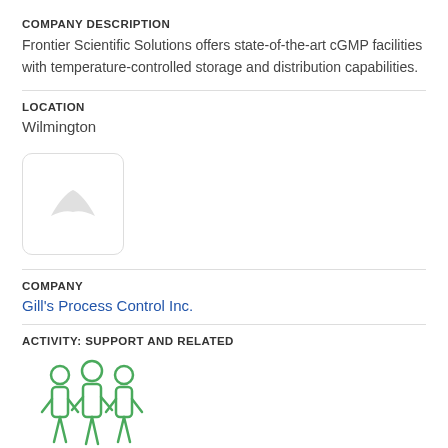COMPANY DESCRIPTION
Frontier Scientific Solutions offers state-of-the-art cGMP facilities with temperature-controlled storage and distribution capabilities.
LOCATION
Wilmington
[Figure (logo): Company logo placeholder — white rounded square with a light grey abstract shape]
COMPANY
Gill's Process Control Inc.
ACTIVITY: SUPPORT AND RELATED
[Figure (illustration): Three green outlined human figures standing side by side, representing a group/team icon]